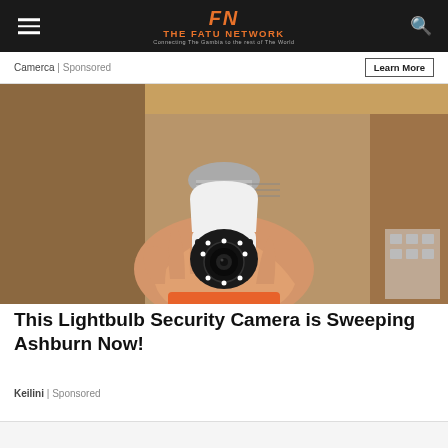THE FATU NETWORK — Connecting The Gambia to the rest of The World
Camerca | Sponsored
Learn More
[Figure (photo): Hand holding a white lightbulb-shaped security camera with LED ring and camera lens, against a cardboard box background]
This Lightbulb Security Camera is Sweeping Ashburn Now!
Keilini | Sponsored